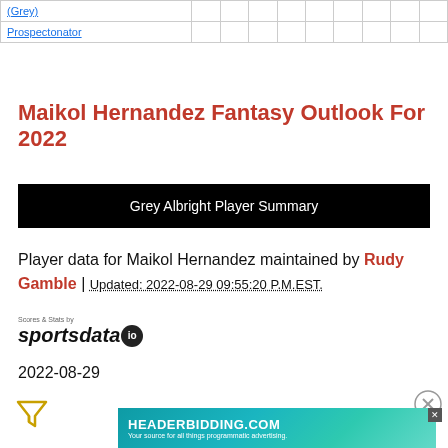| (Grey) |  |  |  |  |  |  |  |  |  |
| Prospectonator |  |  |  |  |  |  |  |  |  |
Maikol Hernandez Fantasy Outlook For 2022
Grey Albright Player Summary
Player data for Maikol Hernandez maintained by Rudy Gamble | Updated: 2022-08-29 09:55:20 P.M.EST.
[Figure (logo): Scores & Stats by sportsdata.io logo]
2022-08-29
[Figure (other): Filter icon (funnel/triangle shape)]
[Figure (other): Close/X button circle icon]
[Figure (other): HEADERBIDDING.COM advertisement banner - Your source for all things programmatic advertising.]